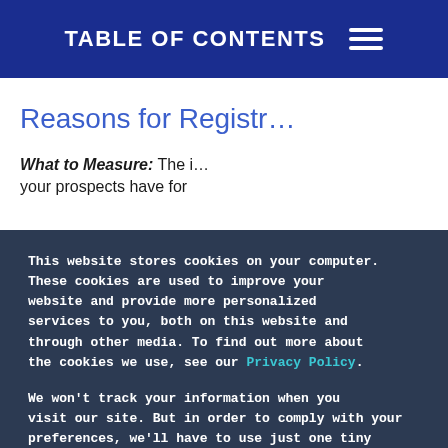TABLE OF CONTENTS
Reasons for Registr…
What to Measure: The i… your prospects have for
Aventri Virtual & H…
Make every impression co… conferences, meetings ar…
This website stores cookies on your computer. These cookies are used to improve your website and provide more personalized services to you, both on this website and through other media. To find out more about the cookies we use, see our Privacy Policy.
We won't track your information when you visit our site. But in order to comply with your preferences, we'll have to use just one tiny cookie so that you're not asked to make this choice again.